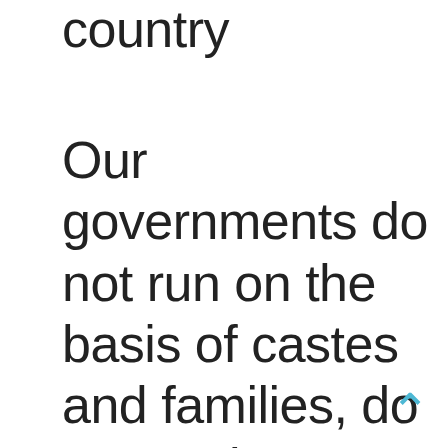country
Our governments do not run on the basis of castes and families, do not work to benefit families of our leaders, rather our governments work for the development